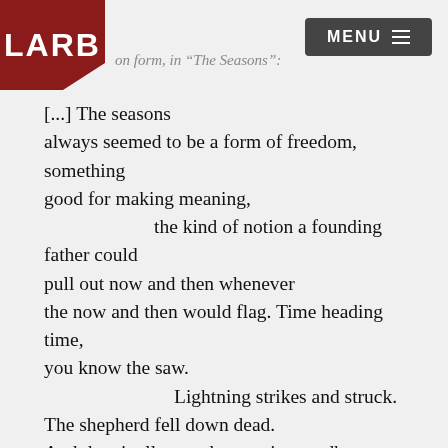LARB  |  on form, in "The Seasons":  |  MENU
[...] The seasons
always seemed to be a form of freedom, something
good for making meaning,
          the kind of notion a founding father could
pull out now and then whenever
the now and then would flag. Time heading time,
you know the saw.
               Lightning strikes and struck.
The shepherd fell down dead.
And then it all wound up again: a redbreast made a
ruckus, the quick eternal sprung. [...]